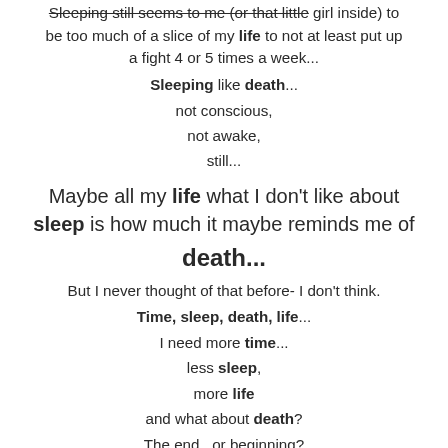Sleeping still seems to me (or that little girl inside) to be too much of a slice of my life to not at least put up a fight 4 or 5 times a week... Sleeping like death... not conscious, not awake, still... Maybe all my life what I don't like about sleep is how much it maybe reminds me of death... But I never thought of that before- I don't think. Time, sleep, death, life... I need more time... less sleep, more life and what about death? The end...or beginning?